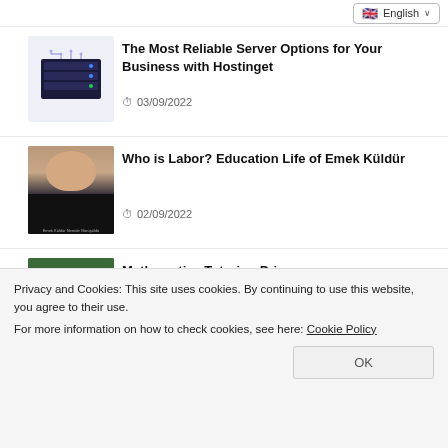English (language selector)
[Figure (screenshot): Partial image of hands on keyboard, cropped at top-left]
The Most Reliable Server Options for Your Business with Hostinget
03/09/2022
[Figure (photo): Portrait photo of a woman in black dress]
Who is Labor? Education Life of Emek Küldür
02/09/2022
[Figure (photo): Chalkboard with math equations]
Mathematics Tutoring Prices
02/09/2022
Privacy and Cookies: This site uses cookies. By continuing to use this website, you agree to their use.
For more information on how to check cookies, see here: Cookie Policy
OK
[Figure (photo): Partial image at bottom, dark tones]
40 Contract Staff